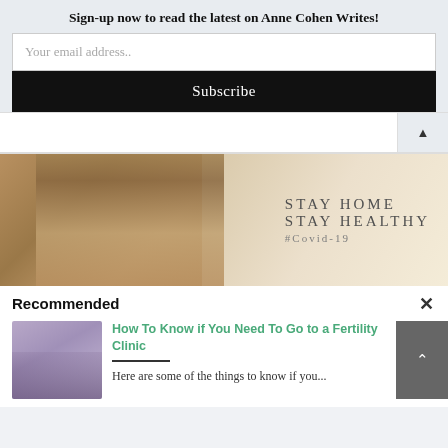Sign-up now to read the latest on Anne Cohen Writes!
Your email address..
Subscribe
[Figure (photo): Woman looking up in a wellness/yoga setting with text on wall reading STAY HOME STAY HEALTHY #COVID-19]
Recommended
[Figure (photo): Thumbnail image of a person holding their pregnant belly]
How To Know if You Need To Go to a Fertility Clinic
Here are some of the things to know if you...